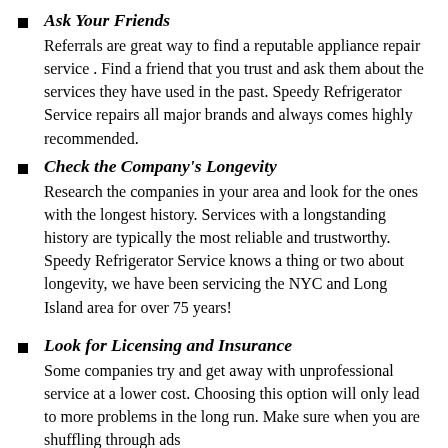Ask Your Friends
Referrals are great way to find a reputable appliance repair service . Find a friend that you trust and ask them about the services they have used in the past. Speedy Refrigerator Service repairs all major brands and always comes highly recommended.
Check the Company's Longevity
Research the companies in your area and look for the ones with the longest history. Services with a longstanding history are typically the most reliable and trustworthy. Speedy Refrigerator Service knows a thing or two about longevity, we have been servicing the NYC and Long Island area for over 75 years!
Look for Licensing and Insurance
Some companies try and get away with unprofessional service at a lower cost. Choosing this option will only lead to more problems in the long run. Make sure when you are shuffling through ads